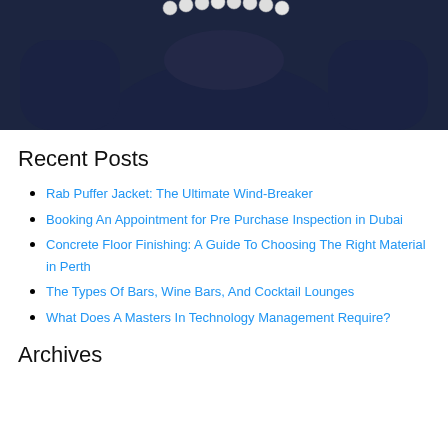[Figure (photo): A person wearing a dark navy/black outfit with a pearl necklace at the collar, upper torso visible against dark background.]
Recent Posts
Rab Puffer Jacket: The Ultimate Wind-Breaker
Booking An Appointment for Pre Purchase Inspection in Dubai
Concrete Floor Finishing: A Guide To Choosing The Right Material in Perth
The Types Of Bars, Wine Bars, And Cocktail Lounges
What Does A Masters In Technology Management Require?
Archives